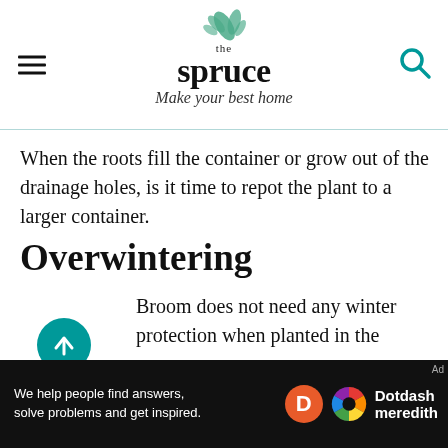the spruce — Make your best home
When the roots fill the container or grow out of the drainage holes, is it time to repot the plant to a larger container.
Overwintering
Broom does not need any winter protection when planted in the ground. In potted broom, on the other hand, the roots are not sufficiently protected. Insulate the roots by wrapping the container in burlap and bubble wrap, or place it in an insulating silo for winter protection.